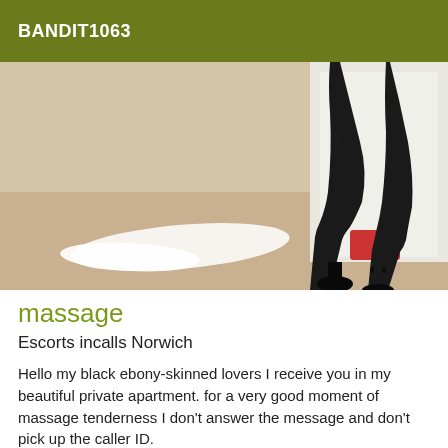BANDIT1063
[Figure (photo): Photo of legs wearing black stockings and high heels on a wooden floor with white papers scattered around, viewed from behind]
massage
Escorts incalls Norwich
Hello my black ebony-skinned lovers I receive you in my beautiful private apartment. for a very good moment of massage tenderness I don't answer the message and don't pick up the caller ID.